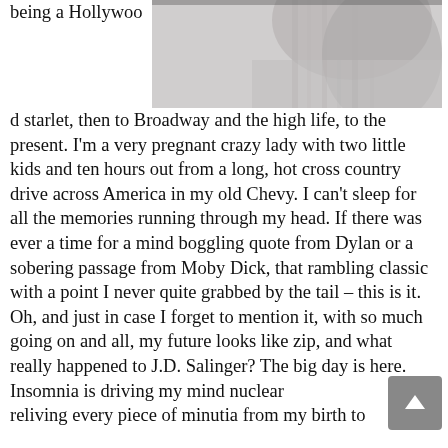[Figure (photo): Black and white photo of a person, visible from shoulder/neck upward, cropped at top right of page]
being a Hollywood starlet, then to Broadway and the high life, to the present. I'm a very pregnant crazy lady with two little kids and ten hours out from a long, hot cross country drive across America in my old Chevy. I can't sleep for all the memories running through my head. If there was ever a time for a mind boggling quote from Dylan or a sobering passage from Moby Dick, that rambling classic with a point I never quite grabbed by the tail – this is it. Oh, and just in case I forget to mention it, with so much going on and all, my future looks like zip, and what really happened to J.D. Salinger? The big day is here. Insomnia is driving my mind nuclear
reliving every piece of minutia from my birth to the present. It's Me, me and I, and today I'm starting